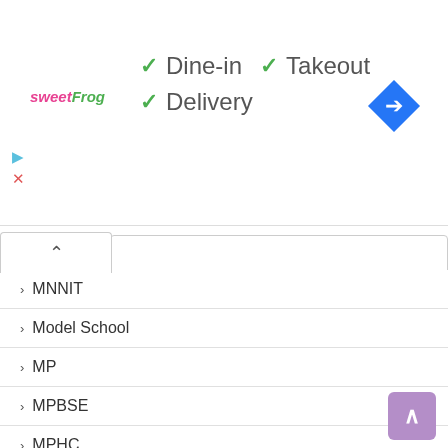[Figure (logo): sweetFrog logo in pink and green italic text]
✓ Dine-in  ✓ Takeout
✓ Delivery
[Figure (other): Blue diamond navigation/turn arrow icon]
[Figure (other): Small play and X icons on left side]
[Figure (other): Collapse/accordion up-chevron button]
> MNNIT
> Model School
> MP
> MPBSE
> MPHC
> MPPGCL
> MPPSC
> MPSC
> Mrb
> Mritak Ashrit
> MRPL